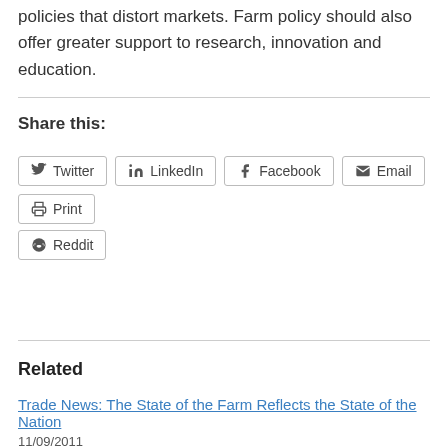policies that distort markets. Farm policy should also offer greater support to research, innovation and education.
Share this:
Twitter LinkedIn Facebook Email Print Reddit
Related
Trade News: The State of the Farm Reflects the State of the Nation
11/09/2011
In "Trade News"